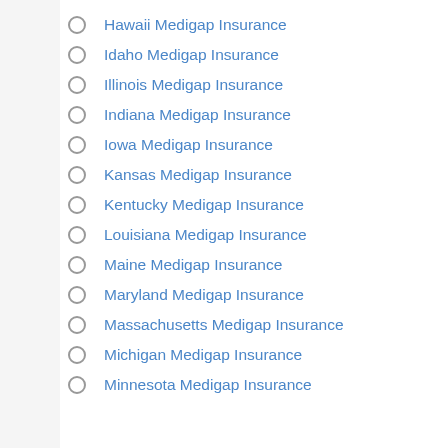Hawaii Medigap Insurance
Idaho Medigap Insurance
Illinois Medigap Insurance
Indiana Medigap Insurance
Iowa Medigap Insurance
Kansas Medigap Insurance
Kentucky Medigap Insurance
Louisiana Medigap Insurance
Maine Medigap Insurance
Maryland Medigap Insurance
Massachusetts Medigap Insurance
Michigan Medigap Insurance
Minnesota Medigap Insurance